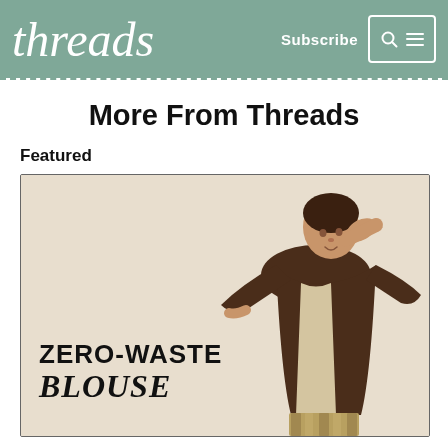threads | Subscribe
More From Threads
Featured
[Figure (photo): Promotional image for 'Zero-Waste Blouse' featuring a woman wearing a dark brown wide-sleeve blouse over a patterned outfit, posing against a light beige background. Bold text on the left reads 'ZERO-WASTE BLOUSE'.]